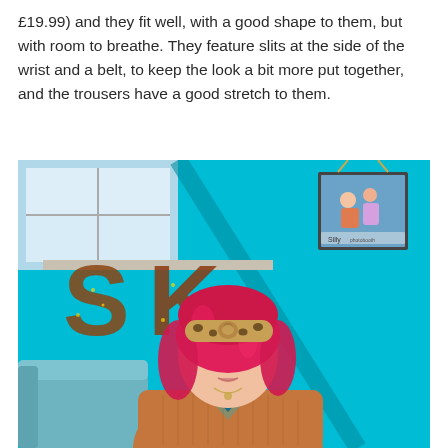£19.99) and they fit well, with a good shape to them, but with room to breathe. They feature slits at the side of the wrist and a belt, to keep the look a bit more put together, and the trousers have a good stretch to them.
[Figure (photo): Woman with pink/red hair wearing a leopard print headband and orange/rust coloured top, sitting in a teal/cyan room with large decorative 'SK' letters on a windowsill and a framed photo on the wall behind her.]